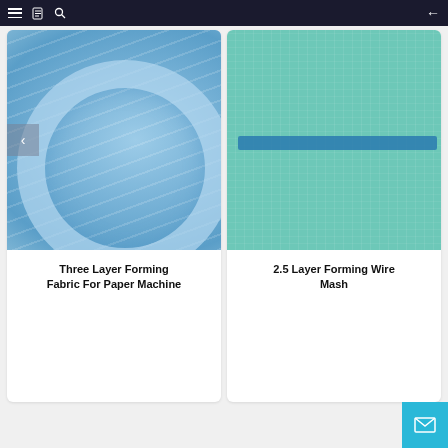Navigation bar with menu, book, search icons and back arrow
[Figure (photo): Blue forming fabric rolls wound tightly, showing layered textile strands in light blue color]
Three Layer Forming Fabric For Paper Machine
[Figure (photo): Close-up of teal/turquoise flat forming wire mesh fabric with a horizontal dark blue stripe across the middle]
2.5 Layer Forming Wire Mash